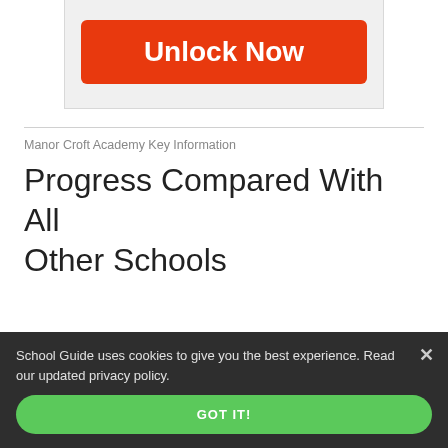[Figure (screenshot): Orange 'Unlock Now' button on a light grey background panel]
Manor Croft Academy Key Information
Progress Compared With All Other Schools
School Guide uses cookies to give you the best experience. Read our updated privacy policy.
GOT IT!